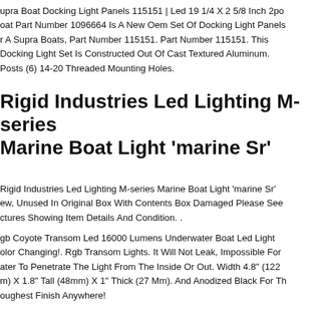upra Boat Docking Light Panels 115151 | Led 19 1/4 X 2 5/8 Inch 2pc Oat Part Number 1096664 Is A New Oem Set Of Docking Light Panels r A Supra Boats, Part Number 115151. Part Number 115151. This Docking Light Set Is Constructed Out Of Cast Textured Aluminum. Posts (6) 14-20 Threaded Mounting Holes.
Rigid Industries Led Lighting M-series Marine Boat Light 'marine Sr'
Rigid Industries Led Lighting M-series Marine Boat Light 'marine Sr' New, Unused In Original Box With Contents Box Damaged Please See Pictures Showing Item Details And Condition. .
Rgb Coyote Transom Led 16000 Lumens Underwater Boat Led Light Color Changing!. Rgb Transom Lights. It Will Not Leak, Impossible For Water To Penetrate The Light From The Inside Or Out. Width 4.8" (122 mm) X 1.8" Tall (48mm) X 1" Thick (27 Mm). And Anodized Black For The Toughest Finish Anywhere!